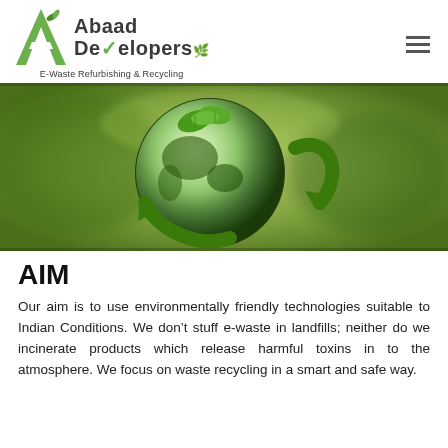[Figure (logo): Abaad Developers logo with green stylized A, text 'Abaad Developers' and tagline 'E-Waste Refurbishing & Recycling']
[Figure (photo): Green recycling arrows around a glowing glass globe with green leaves, on a blurred green background, representing eco-friendly recycling]
AIM
Our aim is to use environmentally friendly technologies suitable to Indian Conditions. We don't stuff e-waste in landfills; neither do we incinerate products which release harmful toxins in to the atmosphere. We focus on waste recycling in a smart and safe way.